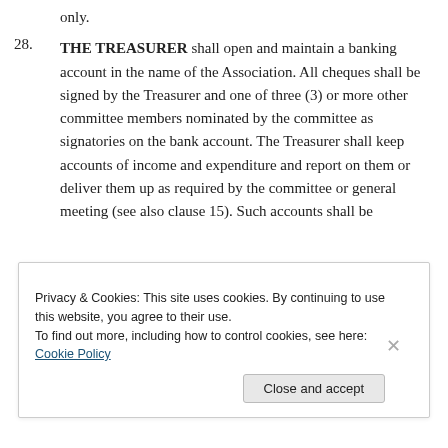only.
28. THE TREASURER shall open and maintain a banking account in the name of the Association. All cheques shall be signed by the Treasurer and one of three (3) or more other committee members nominated by the committee as signatories on the bank account. The Treasurer shall keep accounts of income and expenditure and report on them or deliver them up as required by the committee or general meeting (see also clause 15). Such accounts shall be
Privacy & Cookies: This site uses cookies. By continuing to use this website, you agree to their use.
To find out more, including how to control cookies, see here: Cookie Policy
Close and accept